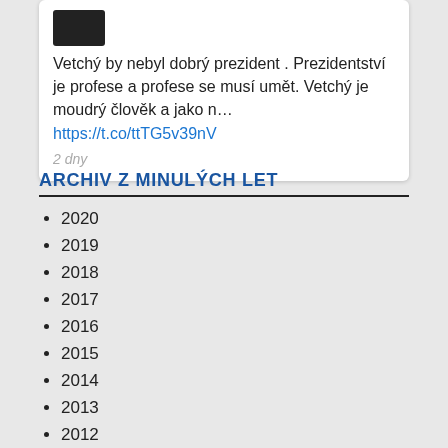Vetchý by nebyl dobrý prezident . Prezidentství je profese a profese se musí umět. Vetchý je moudrý člověk a jako n… https://t.co/ttTG5v39nV
2 dny
ARCHIV Z MINULÝCH LET
2020
2019
2018
2017
2016
2015
2014
2013
2012
2011
2010